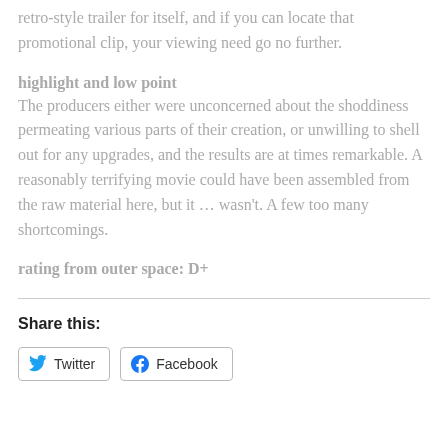retro-style trailer for itself, and if you can locate that promotional clip, your viewing need go no further.
highlight and low point
The producers either were unconcerned about the shoddiness permeating various parts of their creation, or unwilling to shell out for any upgrades, and the results are at times remarkable. A reasonably terrifying movie could have been assembled from the raw material here, but it … wasn't. A few too many shortcomings.
rating from outer space: D+
Share this:
Twitter Facebook